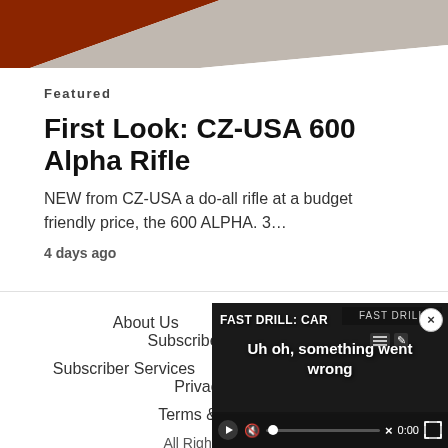[Figure (photo): Top partial image with dark red/brown and white angular geometric shapes, cropped at top of page]
Featured
First Look: CZ-USA 600 Alpha Rifle
NEW from CZ-USA a do-all rifle at a budget friendly price, the 600 ALPHA. 3…
4 days ago
About Us   Email Newsletter   Subscribe to RECOIL
Subscriber Services   Advertise with RECOIL   Privacy Policy
Terms & Co…
All Rights R…
[Figure (screenshot): Video overlay popup showing 'FAST DRILL: CAR' title with error message 'Uh oh, something went wrong' and video player controls including play button, scrubber, mute icon, timestamp 0:00, and fullscreen button. Close X button in top right corner.]